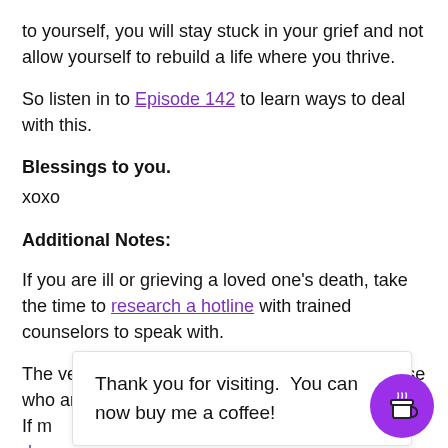to yourself, you will stay stuck in your grief and not allow yourself to rebuild a life where you thrive.
So listen in to Episode 142 to learn ways to deal with this.
Blessings to you.
xoxo
Additional Notes:
If you are ill or grieving a loved one's death, take the time to research a hotline with trained counselors to speak with.
The very best individuals to connect with are those who are suffi
If m
don
Thank you for visiting. You can now buy me a coffee!